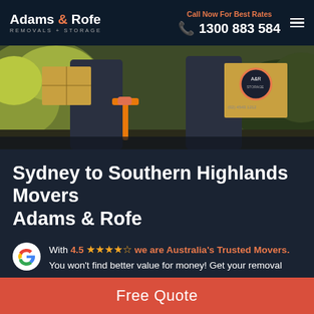Adams & Rofe REMOVALS + STORAGE | Call Now For Best Rates | 1300 883 584
[Figure (photo): Two movers in dark uniforms carrying cardboard boxes and equipment outdoors with green foliage in background]
Sydney to Southern Highlands Movers Adams & Rofe
With 4.5 stars we are Australia's Trusted Movers. You won't find better value for money! Get your removal quote now.
Free Quote